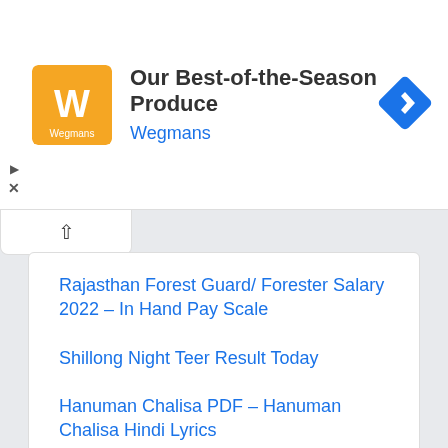[Figure (screenshot): Advertisement banner with Wegmans logo (orange square), title 'Our Best-of-the-Season Produce', subtitle 'Wegmans' in blue, and a blue navigation/directions diamond icon on the right. Play and X controls on the left side.]
Rajasthan Forest Guard/ Forester Salary 2022 – In Hand Pay Scale
Shillong Night Teer Result Today
Hanuman Chalisa PDF – Hanuman Chalisa Hindi Lyrics